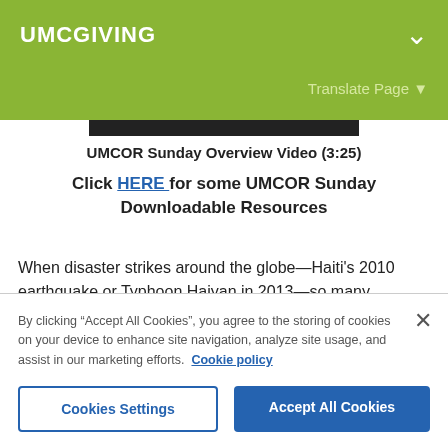UMCGIVING
Translate Page ▼
[Figure (screenshot): Black video thumbnail bar for UMCOR Sunday Overview Video]
UMCOR Sunday Overview Video (3:25)
Click HERE for some UMCOR Sunday Downloadable Resources
When disaster strikes around the globe—Haiti's 2010 earthquake or Typhoon Haiyan in 2013—so many watching the drama unfold
By clicking "Accept All Cookies", you agree to the storing of cookies on your device to enhance site navigation, analyze site usage, and assist in our marketing efforts. Cookie policy
Cookies Settings
Accept All Cookies